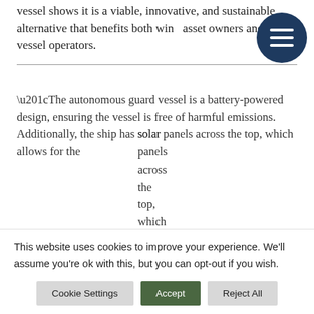vessel shows it is a viable, innovative, and sustainable alternative that benefits both wind asset owners and guard vessel operators.
[Figure (other): Dark navy circular menu button with three horizontal white lines (hamburger icon)]
“The autonomous guard vessel is a battery-powered design, ensuring the vessel is free of harmful emissions. Additionally, the ship has solar panels across the top, which allows for the
This website uses cookies to improve your experience. We’ll assume you’re ok with this, but you can opt-out if you wish.
Cookie Settings | Accept | Reject All